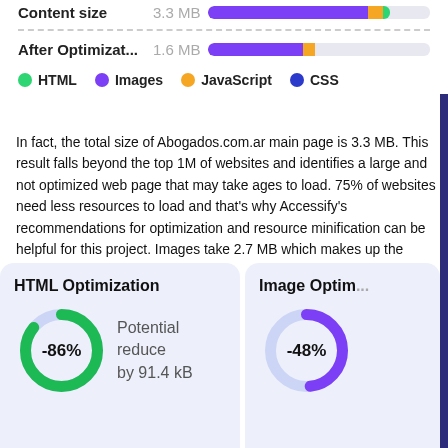Content size  3.3 MB [bar]
After Optimizat...  1.6 MB [bar]
HTML  Images  JavaScript  CSS
In fact, the total size of Abogados.com.ar main page is 3.3 MB. This result falls beyond the top 1M of websites and identifies a large and not optimized web page that may take ages to load. 75% of websites need less resources to load and that's why Accessify's recommendations for optimization and resource minification can be helpful for this project. Images take 2.7 MB which makes up the majority of the site volume.
HTML Optimization
[Figure (donut-chart): HTML Optimization]
Potential reduce by 91.4 kB
Image Optim...
[Figure (donut-chart): Image Optimization]